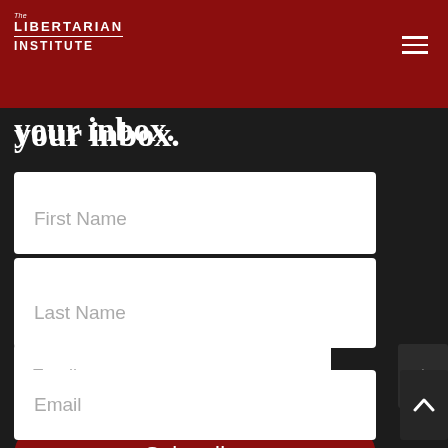The Libertarian Institute
your inbox.
[Figure (screenshot): First Name input field (white rounded rectangle)]
[Figure (screenshot): Last Name input field (white rounded rectangle)]
[Figure (screenshot): Email input field (white rounded rectangle)]
[Figure (screenshot): Subscribe button (red rounded rectangle with white text)]